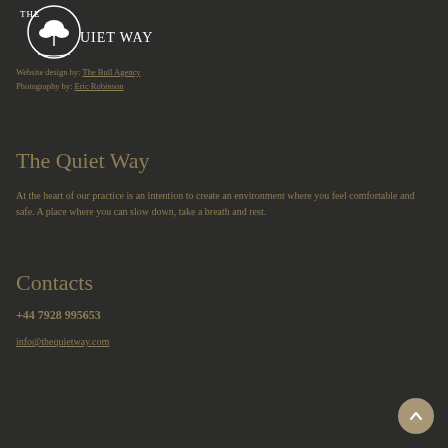[Figure (logo): The Quiet Way logo — circular emblem with a tree inside, text THE QUIET WAY in white serif capitals]
Website design by: The Bull Agency
Photography by: Eric Robinson
The Quiet Way
At the heart of our practice is an intention to create an environment where you feel comfortable and safe. A place where you can slow down, take a breath and rest.
Contacts
+44 7928 995653
info@thequietway.com
[Figure (other): Round scroll-to-top button with an upward arrow, tan/gold color]